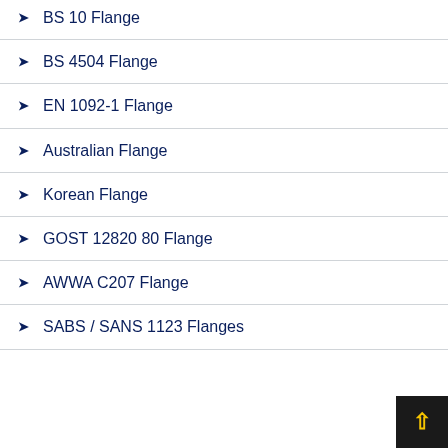BS 10 Flange
BS 4504 Flange
EN 1092-1 Flange
Australian Flange
Korean Flange
GOST 12820 80 Flange
AWWA C207 Flange
SABS / SANS 1123 Flanges